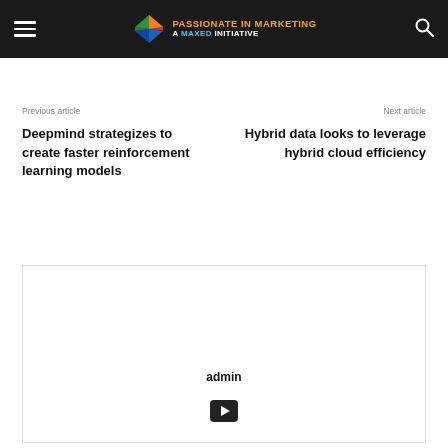Passionate in Marketing – A MaxEd Initiative
Previous article
Next article
Deepmind strategizes to create faster reinforcement learning models
Hybrid data looks to leverage hybrid cloud efficiency
[Figure (other): Embedded content card showing 'admin' label and YouTube play button icon]